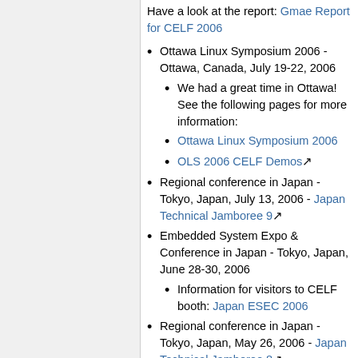Have a look at the report: Gmae Report for CELF 2006
Ottawa Linux Symposium 2006 - Ottawa, Canada, July 19-22, 2006
We had a great time in Ottawa! See the following pages for more information:
Ottawa Linux Symposium 2006
OLS 2006 CELF Demos
Regional conference in Japan - Tokyo, Japan, July 13, 2006 - Japan Technical Jamboree 9
Embedded System Expo & Conference in Japan - Tokyo, Japan, June 28-30, 2006
Information for visitors to CELF booth: Japan ESEC 2006
Regional conference in Japan - Tokyo, Japan, May 26, 2006 - Japan Technical Jamboree 8